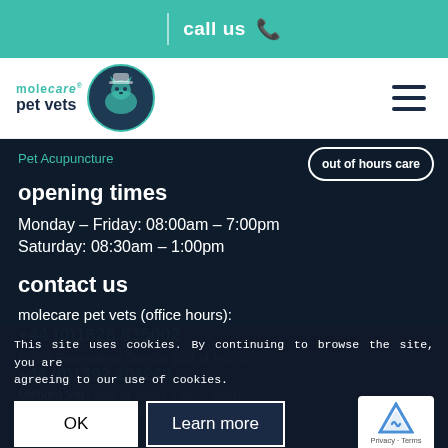call us
[Figure (logo): Molecare Pet Vets logo with circular emblem featuring a cat and dog]
Pet Acupuncture
out of hours care
opening times
Monday – Friday: 08:00am – 7:00pm
Saturday: 08:30am – 1:00pm
contact us
molecare pet vets (office hours):
+44 (0)1626 835002
EVES Emergency Service (out of hours):
+44 (0)1392 204243
MiNight Vets (out of hours 7pm – 8am):
+44 (0) 1803 866073
This site uses cookies. By continuing to browse the site, you are agreeing to our use of cookies.